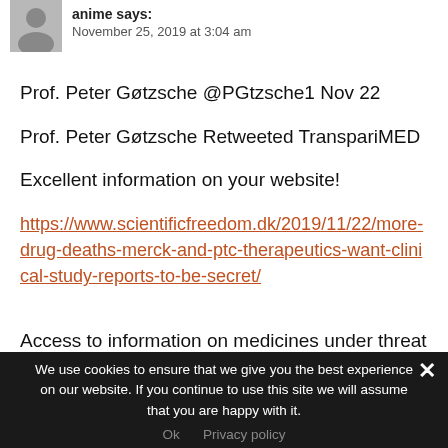[Figure (illustration): Gray avatar/profile placeholder image]
anime says:
November 25, 2019 at 3:04 am
Prof. Peter Gøtzsche @PGtzsche1 Nov 22
Prof. Peter Gøtzsche Retweeted TranspariMED
Excellent information on your website!
https://www.scientificfreedom.dk/2019/11/22/more-drug-deaths-merck-and-ptc-therapeutics-want-clinical-study-reports-to-be-secret/
Access to information on medicines under threat in
We use cookies to ensure that we give you the best experience on our website. If you continue to use this site we will assume that you are happy with it.
Ok   Privacy policy